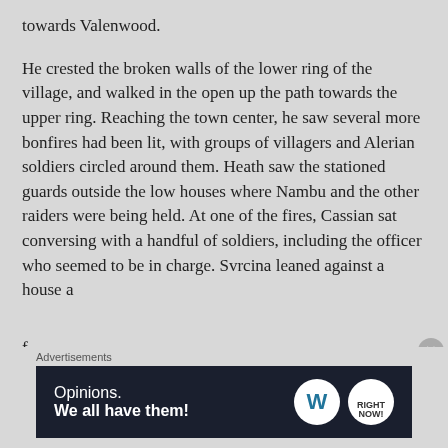towards Valenwood.
He crested the broken walls of the lower ring of the village, and walked in the open up the path towards the upper ring. Reaching the town center, he saw several more bonfires had been lit, with groups of villagers and Alerian soldiers circled around them. Heath saw the stationed guards outside the low houses where Nambu and the other raiders were being held. At one of the fires, Cassian sat conversing with a handful of soldiers, including the officer who seemed to be in charge. Svrcina leaned against a house a f…
Advertisements
[Figure (other): Advertisement banner with dark background showing 'Opinions. We all have them!' text with WordPress and another circular logo on the right.]